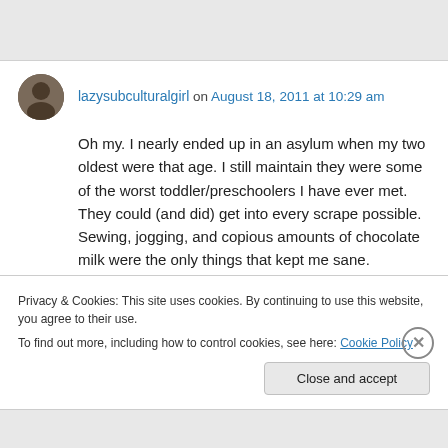lazysubculturalgirl on August 18, 2011 at 10:29 am
Oh my. I nearly ended up in an asylum when my two oldest were that age. I still maintain they were some of the worst toddler/preschoolers I have ever met. They could (and did) get into every scrape possible. Sewing, jogging, and copious amounts of chocolate milk were the only things that kept me sane.
Privacy & Cookies: This site uses cookies. By continuing to use this website, you agree to their use.
To find out more, including how to control cookies, see here: Cookie Policy